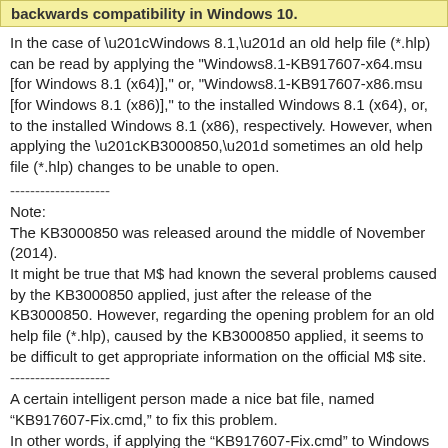backwards compatibility in Windows 10.
In the case of “Windows 8.1,” an old help file (*.hlp) can be read by applying the "Windows8.1-KB917607-x64.msu [for Windows 8.1 (x64)]," or, "Windows8.1-KB917607-x86.msu [for Windows 8.1 (x86)]," to the installed Windows 8.1 (x64), or, to the installed Windows 8.1 (x86), respectively. However, when applying the “KB3000850,” sometimes an old help file (*.hlp) changes to be unable to open.
--------------------
Note:
The KB3000850 was released around the middle of November (2014).
It might be true that M$ had known the several problems caused by the KB3000850 applied, just after the release of the KB3000850. However, regarding the opening problem for an old help file (*.hlp), caused by the KB3000850 applied, it seems to be difficult to get appropriate information on the official M$ site.
--------------------
A certain intelligent person made a nice bat file, named “KB917607-Fix.cmd,” to fix this problem.
In other words, if applying the “KB917607-Fix.cmd” to Windows 8.1, an old help file (*.hlp) can be still read on Windows 8.1 (x64, or x86).
I think that M$ might not release the "winhlp32.exe"